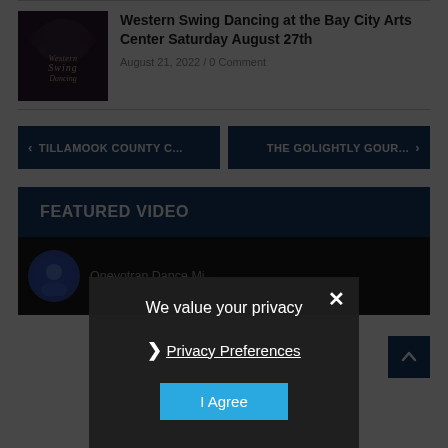[Figure (photo): Thumbnail image for Western Swing Dancing post — dark vintage style with Western Swing text]
Western Swing Dancing at the Bay City Arts Center Saturday August 27th
August 21, 2022 / 0 Comment
< TILLAMOOK COUNTY C...
THE GOLIGHTLY GOUR... >
FEATURED VIDEO
[Figure (screenshot): Featured video area with dark background, avatar icon and partial text]
We value your privacy
› Privacy Preferences
I Agree